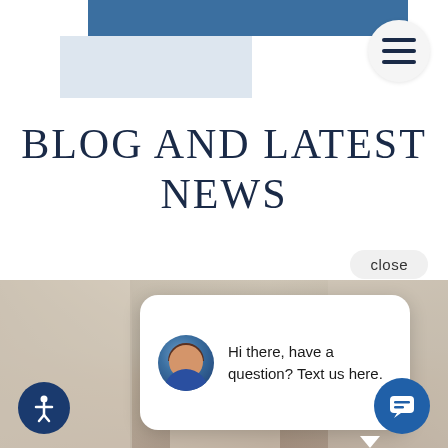[Figure (screenshot): Website header with blue bar, light gray rectangle, and hamburger menu button on white background]
BLOG AND LATEST NEWS
close
[Figure (photo): Kitchen interior photo showing white cabinets, pendant lighting, and stainless steel appliances with marble countertops]
[Figure (infographic): Chat popup with avatar photo of woman and text: Hi there, have a question? Text us here.]